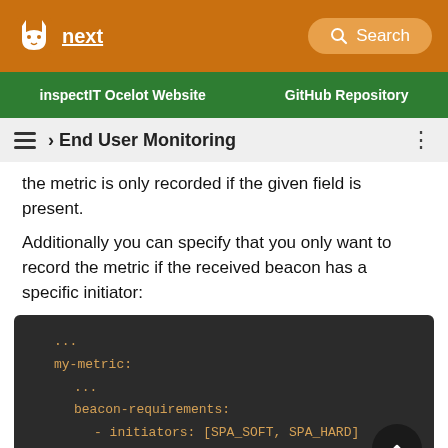next — inspectIT Ocelot Website | GitHub Repository
› End User Monitoring
the metric is only recorded if the given field is present.
Additionally you can specify that you only want to record the metric if the received beacon has a specific initiator:
[Figure (screenshot): Code block showing YAML configuration with my-metric, beacon-requirements, initiators: [SPA_SOFT, SPA_HARD], requirement: HAS_INITIATOR]
The available initiators are DOCUMENT for the initial